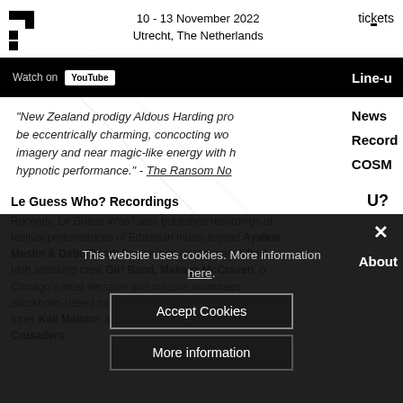10 - 13 November 2022
Utrecht, The Netherlands
tickets
Line-up
[Figure (screenshot): Black navigation bar with 'Watch on' text and YouTube button]
"New Zealand prodigy Aldous Harding proves to be eccentrically charming, concocting wondrous imagery and near magic-like energy with her hypnotic performance." - The Ransom Note
News
Recordings
COSM
Le Guess Who? Recordings
U?
Recently, Le Guess Who? also published recordings of festival performances of Ethiopian music legend Ayalew Mesfin & Debo Band; Danish pop adventurers Efterklang; Irish wrecking crew Girl Band, Makaya McCraven, one of Chicago's most versatile and creative drummers; Stockholm-based minimalist artist and apprenticing organ tuner Kali Malone; and Japanese 10-piece ensemble Ikebe Crusaders.
About
[Figure (screenshot): Cookie consent overlay with Accept Cookies and More information buttons]
This website uses cookies. More information here.
Accept Cookies
More information